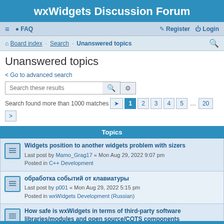wxWidgets Discussion Forum
≡  FAQ    Register   Login
Board index · Search · Unanswered topics
Unanswered topics
< Go to advanced search
Search these results
Search found more than 1000 matches  1 2 3 4 5 ... 20 >
Topics
Widgets position to another widgets problem with sizers
Last post by Mamo_Grag17 « Mon Aug 29, 2022 9:07 pm
Posted in C++ Development
обработка событий от клавиатуры
Last post by p001 « Mon Aug 29, 2022 5:15 pm
Posted in wxWidgets Development (Russian)
How safe is wxWidgets in terms of third-party software libraries/modules and open source/COTS components
Last post by itachiboi999 « Mon Aug 29, 2022 7:16 am
Posted in General Development